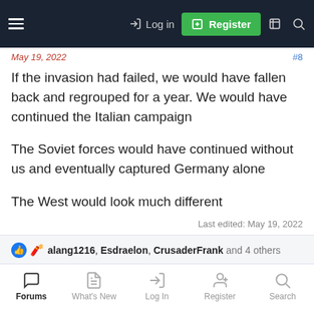Log in | Register
May 19, 2022
If the invasion had failed, we would have fallen back and regrouped for a year. We would have continued the Italian campaign
The Soviet forces would have continued without us and eventually captured Germany alone
The West would look much different
Last edited: May 19, 2022
alang1216, Esdraelon, CrusaderFrank and 4 others
Forums | What's New | Log In | Register | Search